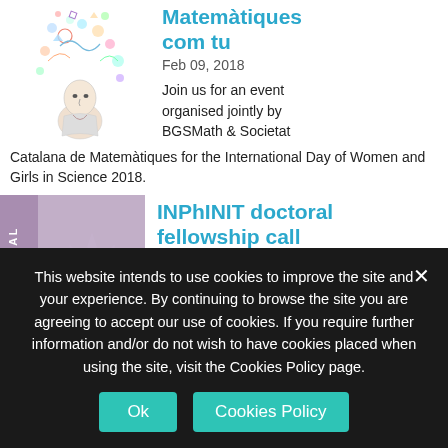[Figure (illustration): Decorative illustration of a woman with colorful mathematical/scientific objects in her hair]
Matemàtiques com tu
Feb 09, 2018
Join us for an event organised jointly by BGSMath & Societat Catalana de Matemàtiques for the International Day of Women and Girls in Science 2018.
[Figure (illustration): Doctoral Calls banner image with purple background and geometric design]
INPhINIT doctoral fellowship call
Feb 01, 2018
INPhINIT is a doctoral fellowship programme
This website intends to use cookies to improve the site and your experience. By continuing to browse the site you are agreeing to accept our use of cookies. If you require further information and/or do not wish to have cookies placed when using the site, visit the Cookies Policy page.